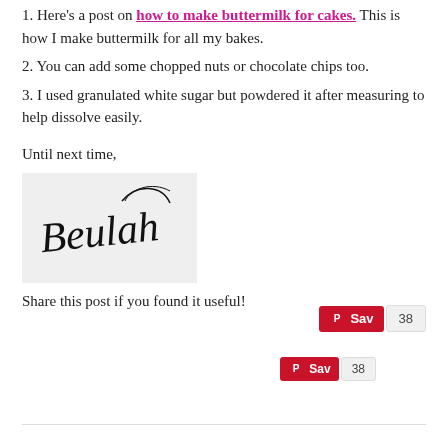1. Here's a post on how to make buttermilk for cakes. This is how I make buttermilk for all my bakes.
2. You can add some chopped nuts or chocolate chips too.
3. I used granulated white sugar but powdered it after measuring to help dissolve easily.
Until next time,
[Figure (illustration): Cursive handwritten signature reading 'Beulah' on a light gray background]
Share this post if you found it useful!
[Figure (other): Pinterest Save button with count badge showing 38]
[Figure (other): Pinterest Save button (smaller) with count badge showing 38]